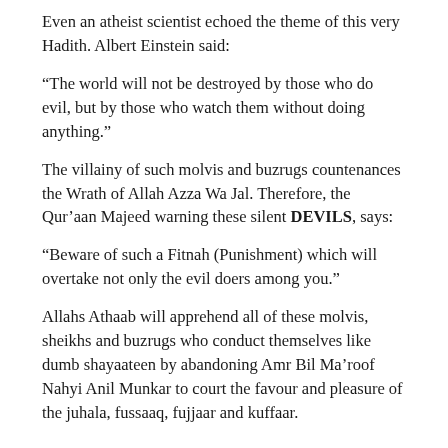Even an atheist scientist echoed the theme of this very Hadith. Albert Einstein said:
“The world will not be destroyed by those who do evil, but by those who watch them without doing anything.”
The villainy of such molvis and buzrugs countenances the Wrath of Allah Azza Wa Jal. Therefore, the Qur’aan Majeed warning these silent DEVILS, says:
“Beware of such a Fitnah (Punishment) which will overtake not only the evil doers among you.”
Allahs Athaab will apprehend all of these molvis, sheikhs and buzrugs who conduct themselves like dumb shayaateen by abandoning Amr Bil Ma’roof Nahyi Anil Munkar to court the favour and pleasure of the juhala, fussaaq, fujjaar and kuffaar.